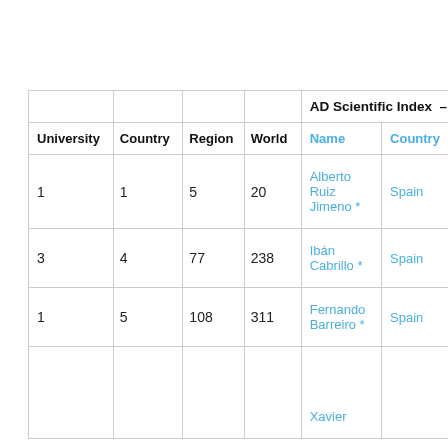| University | Country | Region | World | Name (AD Scientific Index) | Country (AD Scientific Index) |
| --- | --- | --- | --- | --- | --- |
| 1 | 1 | 5 | 20 | Alberto Ruiz Jimeno * | Spain |
| 3 | 4 | 77 | 238 | Ibán Cabrillo * | Spain |
| 1 | 5 | 108 | 311 | Fernando Barreiro * | Spain |
|  |  |  |  | Xavier |  |